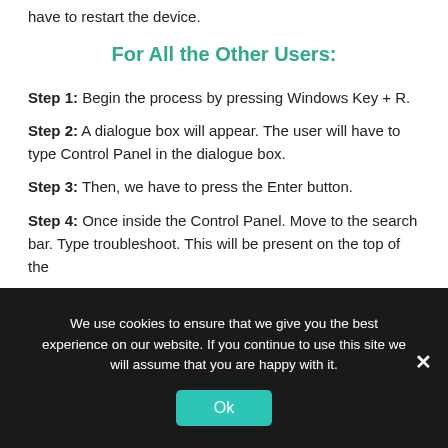have to restart the device.
For All the Other Users:
Step 1: Begin the process by pressing Windows Key + R.
Step 2: A dialogue box will appear. The user will have to type Control Panel in the dialogue box.
Step 3: Then, we have to press the Enter button.
Step 4: Once inside the Control Panel. Move to the search bar. Type troubleshoot. This will be present on the top of the
We use cookies to ensure that we give you the best experience on our website. If you continue to use this site we will assume that you are happy with it.